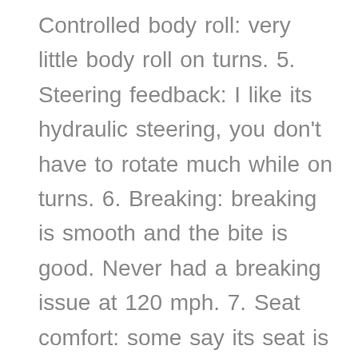Controlled body roll: very little body roll on turns. 5. Steering feedback: I like its hydraulic steering, you don't have to rotate much while on turns. 6. Breaking: breaking is smooth and the bite is good. Never had a breaking issue at 120 mph. 7. Seat comfort: some say its seat is hard it may hurt on a long drive. But trust me science says a bit stiff seat is good for a long drive and I felt super comfortable at a 400km drive in a stretch. 8. Headlight throw: I never felt I need to upgrade. Its headlight through at night is better than other rivals. 8. Boot space: when it was launched it had one of the largest boot spaces